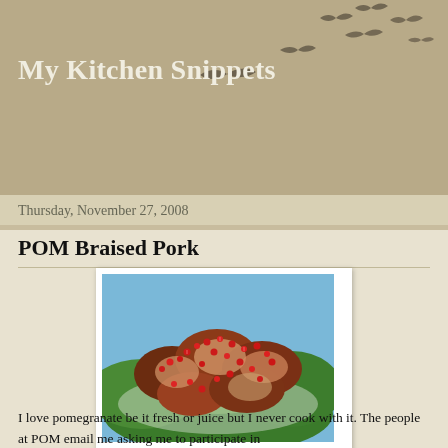My Kitchen Snippets
Thursday, November 27, 2008
POM Braised Pork
[Figure (photo): POM Braised Pork dish with pomegranate seeds on top of meat pieces, served on green lettuce leaves on a white plate]
I love pomegranate be it fresh or juice but I never cook with it. The people at POM email me asking me to participate in